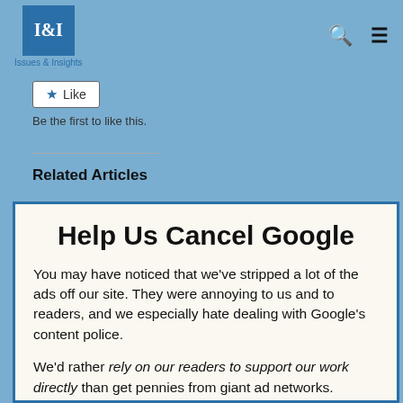I&I Issues & Insights
Like
Be the first to like this.
Related Articles
Help Us Cancel Google
You may have noticed that we've stripped a lot of the ads off our site. They were annoying to us and to readers, and we especially hate dealing with Google's content police.
We'd rather rely on our readers to support our work directly than get pennies from giant ad networks.
We won't charge you to access our content, but you can help us keep this site going with a donation.